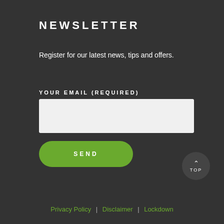NEWSLETTER
Register for our latest news, tips and offers.
YOUR EMAIL (REQUIRED)
[Figure (other): Email input text field (empty, light gray background)]
[Figure (other): Green rounded SEND button]
[Figure (other): Dark circular TOP button with upward arrow]
Privacy Policy | Disclaimer | Lockdown